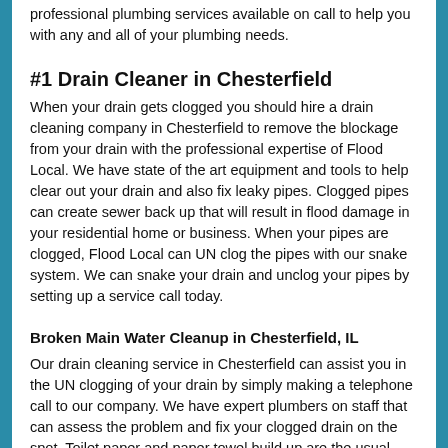professional plumbing services available on call to help you with any and all of your plumbing needs.
#1 Drain Cleaner in Chesterfield
When your drain gets clogged you should hire a drain cleaning company in Chesterfield to remove the blockage from your drain with the professional expertise of Flood Local. We have state of the art equipment and tools to help clear out your drain and also fix leaky pipes. Clogged pipes can create sewer back up that will result in flood damage in your residential home or business. When your pipes are clogged, Flood Local can UN clog the pipes with our snake system. We can snake your drain and unclog your pipes by setting up a service call today.
Broken Main Water Cleanup in Chesterfield, IL
Our drain cleaning service in Chesterfield can assist you in the UN clogging of your drain by simply making a telephone call to our company. We have expert plumbers on staff that can assess the problem and fix your clogged drain on the spot. Toilet paper and paper towel build up are the usual reason for the clog or back up of a drain. With our expert plumbers in Chesterfield we can be on site within...